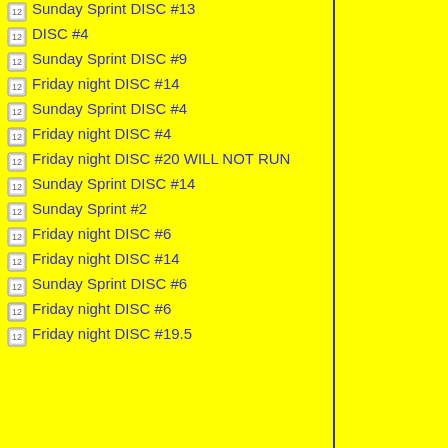Sunday Sprint DISC #13
DISC #4
Sunday Sprint DISC #9
Friday night DISC #14
Sunday Sprint DISC #4
Friday night DISC #4
Friday night DISC #20 WILL NOT RUN
Sunday Sprint DISC #14
Sunday Sprint #2
Friday night DISC #6
Friday night DISC #14
Sunday Sprint DISC #6
Friday night DISC #6
Friday night DISC #19.5